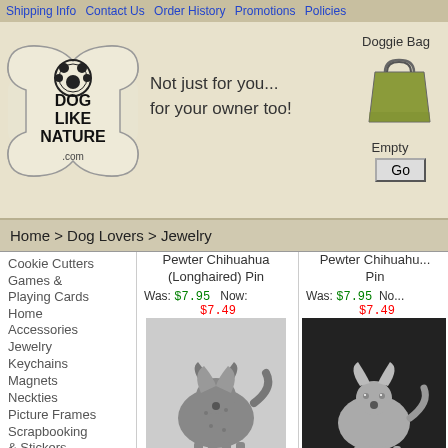Shipping Info  Contact Us  Order History  Promotions  Policies
[Figure (logo): Dog Like Nature .com logo in bone shape]
Not just for you... for your owner too!
Doggie Bag
[Figure (illustration): Shopping bag icon (Doggie Bag)]
Empty
Go
Home > Dog Lovers > Jewelry
Cookie Cutters
Games & Playing Cards
Home Accessories
Jewelry
Keychains
Magnets
Neckties
Picture Frames
Scrapbooking & Stickers
Socks
Tote Bags
Cats
Pewter Chihuahua (Longhaired) Pin
Was: $7.95  Now:
$7.49
[Figure (photo): Pewter Chihuahua longhaired pin product photo]
Pewter Chihuahua Pin
Was: $7.95  Now:
$7.49
[Figure (photo): Pewter Chihuahua pin product photo (shorthaired)]
Pewter Chow Pin
Pewter Cocker Spaniel (Show C...